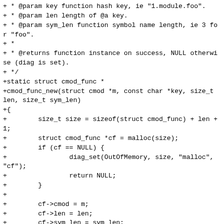+ * @param key function hash key, ie "1.module.foo".
+ * @param len length of @a key.
+ * @param sym_len function symbol name length, ie 3 for "foo".
+ *
+ * @returns function instance on success, NULL otherwise (diag is set).
+ */
+static struct cmod_func *
+cmod_func_new(struct cmod *m, const char *key, size_t len, size_t sym_len)
+{
+        size_t size = sizeof(struct cmod_func) + len + 1;
+        struct cmod_func *cf = malloc(size);
+        if (cf == NULL) {
+                diag_set(OutOfMemory, size, "malloc", "cf");
+                return NULL;
+        }
+
+        cf->cmod = m;
+        cf->len = len;
+        cf->sym_len = sym_len;
+        cf->refs = 0;
+
+        memcpy(cf->key, key, len);
+        cf->key[len] = '\0';
+
+        cf->addr = dlsym(m->handle, cmod_func_sym(cf));